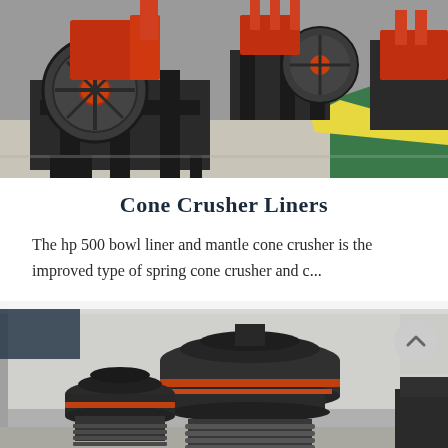[Figure (photo): Industrial jaw crushers in a factory setting, red and dark metal machines with large flywheels on a concrete floor with green and yellow striped marking]
Cone Crusher Liners
The hp 500 bowl liner and mantle cone crusher is the improved type of spring cone crusher and c...
[Figure (photo): Large cone crushers in a manufacturing facility, dark metal machines with distinctive conical shapes and spring mechanisms at the base, orange accent parts visible]